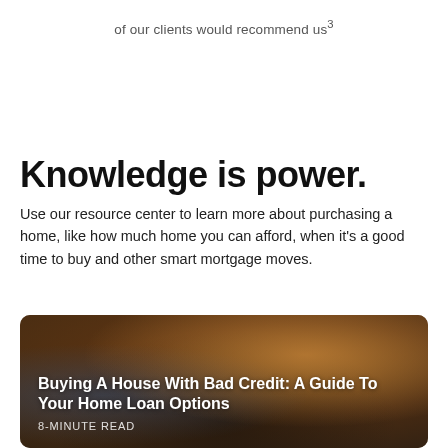of our clients would recommend us³
Knowledge is power.
Use our resource center to learn more about purchasing a home, like how much home you can afford, when it’s a good time to buy and other smart mortgage moves.
[Figure (photo): Blurred background photo of people at a table, with a card/wallet being handled. Overlaid text reads: Buying A House With Bad Credit: A Guide To Your Home Loan Options. Below: 8-MINUTE READ.]
Buying A House With Bad Credit: A Guide To Your Home Loan Options
8-MINUTE READ